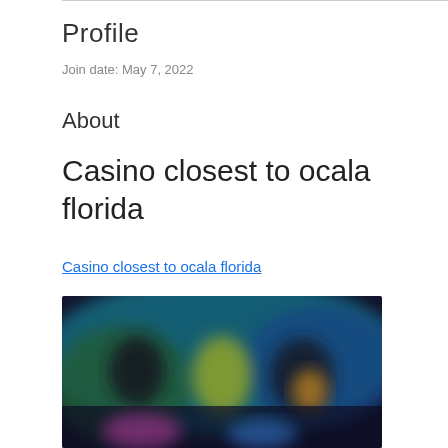Profile
Join date: May 7, 2022
About
Casino closest to ocala florida
Casino closest to ocala florida
[Figure (photo): Blurred image showing a dark gaming/casino scene with colorful lights and blurred figures]